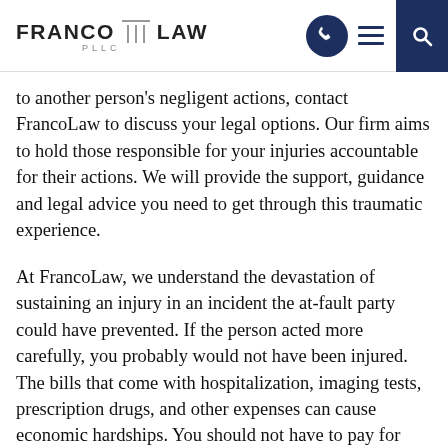[Figure (logo): Franco Law PLLC logo with stylized column divider between FRANCO and LAW, with PLLC below]
to another person's negligent actions, contact FrancoLaw to discuss your legal options. Our firm aims to hold those responsible for your injuries accountable for their actions. We will provide the support, guidance and legal advice you need to get through this traumatic experience.
At FrancoLaw, we understand the devastation of sustaining an injury in an incident the at-fault party could have prevented. If the person acted more carefully, you probably would not have been injured. The bills that come with hospitalization, imaging tests, prescription drugs, and other expenses can cause economic hardships. You should not have to pay for these costs out of pocket if your actions didn't contribute to the accident. We know the toll a traumatic incident can take on a person's life. It